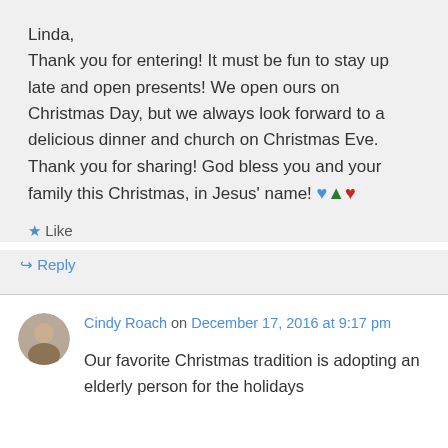Linda,
Thank you for entering! It must be fun to stay up late and open presents! We open ours on Christmas Day, but we always look forward to a delicious dinner and church on Christmas Eve. Thank you for sharing! God bless you and your family this Christmas, in Jesus' name! 💙🌲❤️
★ Like
↳ Reply
Cindy Roach on December 17, 2016 at 9:17 pm
Our favorite Christmas tradition is adopting an elderly person for the holidays